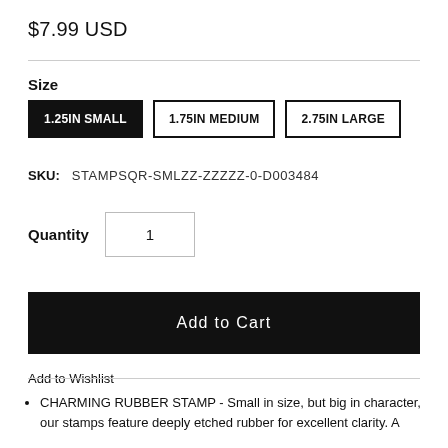$7.99 USD
Size
1.25IN SMALL | 1.75IN MEDIUM | 2.75IN LARGE
SKU: STAMPSQR-SMLZZ-ZZZZZ-0-D003484
Quantity 1
Add to Cart
Add to Wishlist
CHARMING RUBBER STAMP - Small in size, but big in character, our stamps feature deeply etched rubber for excellent clarity. A